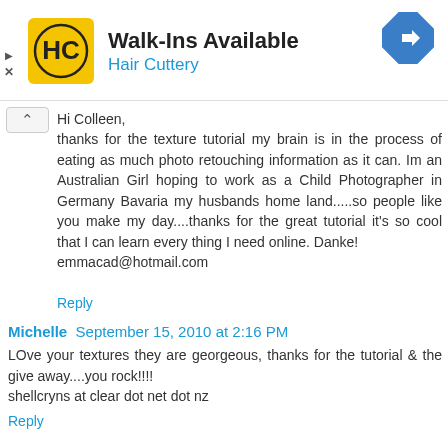[Figure (advertisement): Hair Cuttery advertisement banner with yellow HC logo, text 'Walk-Ins Available' and 'Hair Cuttery', and a blue diamond direction sign icon]
Hi Colleen,
thanks for the texture tutorial my brain is in the process of eating as much photo retouching information as it can. Im an Australian Girl hoping to work as a Child Photographer in Germany Bavaria my husbands home land.....so people like you make my day....thanks for the great tutorial it's so cool that I can learn every thing I need online. Danke!
emmacad@hotmail.com
Reply
Michelle  September 15, 2010 at 2:16 PM
LOve your textures they are georgeous, thanks for the tutorial & the give away....you rock!!!!
shellcryns at clear dot net dot nz
Reply